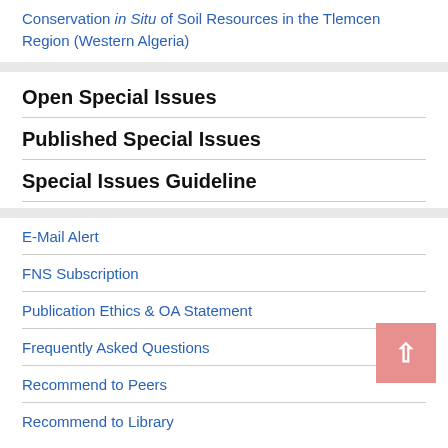Conservation in Situ of Soil Resources in the Tlemcen Region (Western Algeria)
Open Special Issues
Published Special Issues
Special Issues Guideline
E-Mail Alert
FNS Subscription
Publication Ethics & OA Statement
Frequently Asked Questions
Recommend to Peers
Recommend to Library